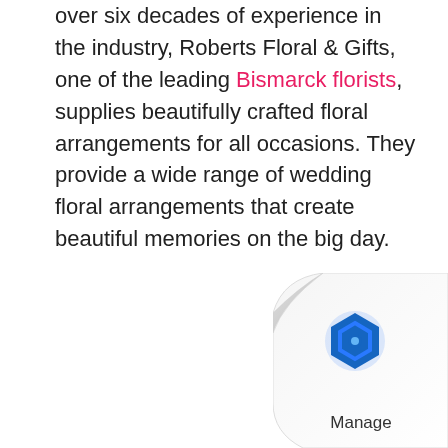over six decades of experience in the industry, Roberts Floral & Gifts, one of the leading Bismarck florists, supplies beautifully crafted floral arrangements for all occasions. They provide a wide range of wedding floral arrangements that create beautiful memories on the big day.
[Figure (logo): Page curl effect in bottom-right corner with a hexagonal blue logo icon and the word 'Manage' below it]